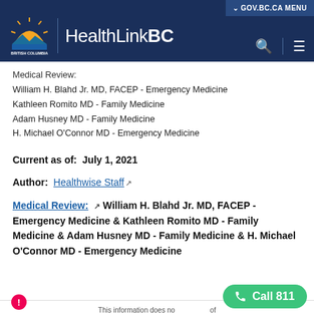GOV.BC.CA MENU | HealthLinkBC
Medical Review:
William H. Blahd Jr. MD, FACEP - Emergency Medicine
Kathleen Romito MD - Family Medicine
Adam Husney MD - Family Medicine
H. Michael O'Connor MD - Emergency Medicine
Current as of:  July 1, 2021
Author:  Healthwise Staff
Medical Review:  William H. Blahd Jr. MD, FACEP - Emergency Medicine & Kathleen Romito MD - Family Medicine & Adam Husney MD - Family Medicine & H. Michael O'Connor MD - Emergency Medicine
This information does not | Call 811